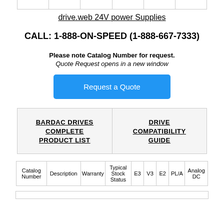|  |
drive.web 24V power Supplies
CALL: 1-888-ON-SPEED (1-888-667-7333)
Please note Catalog Number for request.
Quote Request opens in a new window
[Figure (other): Request a Quote blue button]
| BARDAC DRIVES COMPLETE PRODUCT LIST | DRIVE COMPATIBILITY GUIDE |
| --- | --- |
| Catalog Number | Description | Warranty | Typical Stock Status | E3 | V3 | E2 | PL/A | Analog DC |
| --- | --- | --- | --- | --- | --- | --- | --- | --- |